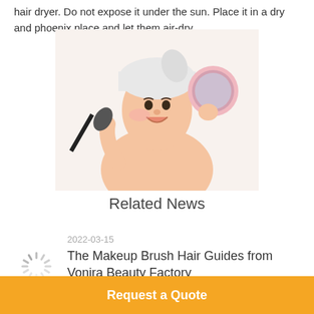hair dryer. Do not expose it under the sun. Place it in a dry and phoenix place and let them air-dry.
[Figure (photo): Young Asian woman with towel on head, holding a makeup brush to her cheek and a round compact mirror in her other hand, on white background.]
Related News
2022-03-15
The Makeup Brush Hair Guides from Vonira Beauty Factory
Request a Quote